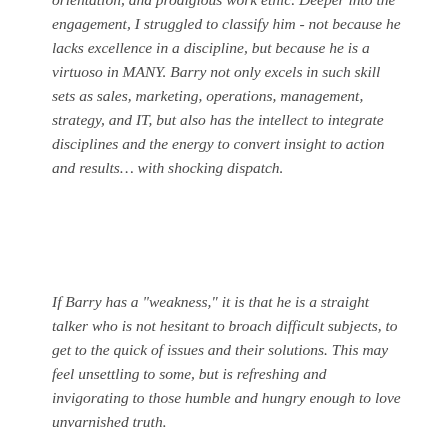orientation, and prodigious work ethic. Deeper into the engagement, I struggled to classify him - not because he lacks excellence in a discipline, but because he is a virtuoso in MANY. Barry not only excels in such skill sets as sales, marketing, operations, management, strategy, and IT, but also has the intellect to integrate disciplines and the energy to convert insight to action and results… with shocking dispatch.
If Barry has a "weakness," it is that he is a straight talker who is not hesitant to broach difficult subjects, to get to the quick of issues and their solutions. This may feel unsettling to some, but is refreshing and invigorating to those humble and hungry enough to love unvarnished truth.